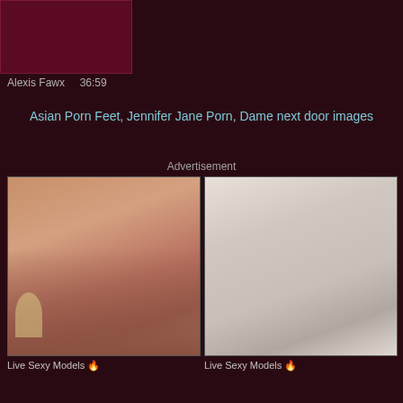[Figure (photo): Dark reddish-maroon video thumbnail placeholder]
Alexis Fawx    36:59
Asian Porn Feet, Jennifer Jane Porn, Dame next door images
Advertisement
[Figure (photo): Tattooed model photo - left ad image]
Live Sexy Models 🔥
[Figure (photo): Blonde model photo - right ad image]
Live Sexy Models 🔥